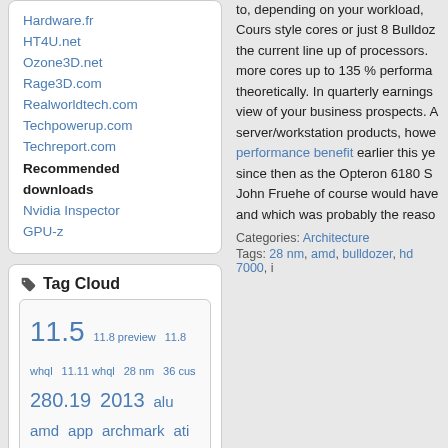Hardware.fr
HT4U.net
Ozone3D.net
Rage3D.com
Realworldtech.com
Techpowerup.com
Techreport.com
Recommended downloads
Nvidia Inspector
GPU-z
Tag Cloud
11.5 11.8 preview 11.8 whql 11.11 whql 28 nm 36 cus 280.19 2013 alu amd app archmark ati avx battlefield 3 benchmark bink blue screen bulldozer catalyst ccc control center crash cypress deprecated directx 11 display port driver drivers fear 3 fermi final final reality geforce geforce 495
to, depending on your workload, Cours style cores or just 8 Bulldozer the current line up of processors. more cores up to 135 % performa theoretically. In quarterly earnings view of your business prospects. A server/workstation products, howe performance benefit earlier this ye since then as the Opteron 6180 S John Fruehe of course would have and which was probably the reaso
Categories: Architecture
Tags: 28 nm, amd, bulldozer, hd 7000, i